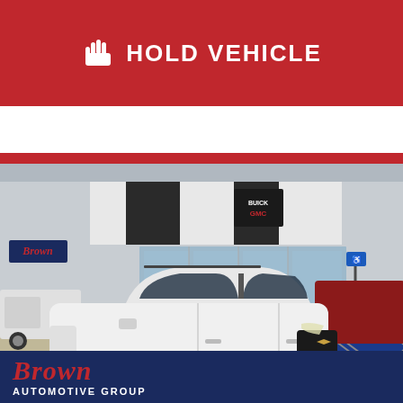HOLD VEHICLE
[Figure (photo): White Chevrolet Equinox SUV parked in front of a Buick GMC dealership showroom. The dealership has large glass windows and signage visible. Another vehicle is partially visible to the left.]
[Figure (logo): Brown Automotive Group logo with cursive 'Brown' in red and 'Automotive Group' in white text on a dark navy blue background.]